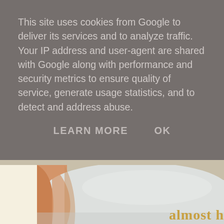This site uses cookies from Google to deliver its services and to analyze traffic. Your IP address and user-agent are shared with Google along with performance and security metrics to ensure quality of service, generate usage statistics, and to detect and address abuse.
LEARN MORE    OK
[Figure (photo): A person holding or draping fabric/clothing over a white pillow against a warm cream and gray background. Partial text 'almost' visible at bottom right in gold lettering.]